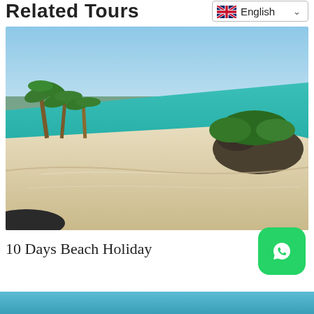Related Tours
English
[Figure (photo): Tropical beach scene with white sand, clear turquoise water, palm trees on the left, and a rocky island with green vegetation on the right under a blue sky.]
10 Days Beach Holiday
[Figure (photo): WhatsApp icon button - green rounded square with white phone/chat icon]
[Figure (photo): Partial blue/teal strip at the bottom of the page, likely another image preview]